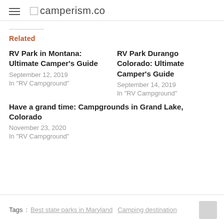camperism.co
Related
RV Park in Montana: Ultimate Camper's Guide
September 12, 2019
In "RV Campground"
RV Park Durango Colorado: Ultimate Camper's Guide
September 14, 2019
In "RV Campground"
Have a grand time: Campgrounds in Grand Lake, Colorado
November 23, 2020
In "RV Campground"
Tags: Best state parks in Maryland   Camping destination